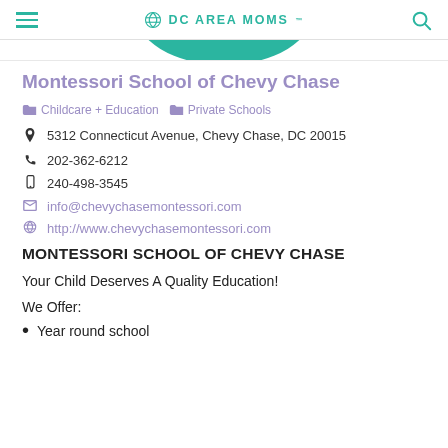DC AREA MOMS
Montessori School of Chevy Chase
Childcare + Education  Private Schools
5312 Connecticut Avenue, Chevy Chase, DC 20015
202-362-6212
240-498-3545
info@chevychasemontessori.com
http://www.chevychasemontessori.com
MONTESSORI SCHOOL OF CHEVY CHASE
Your Child Deserves A Quality Education!
We Offer:
Year round school